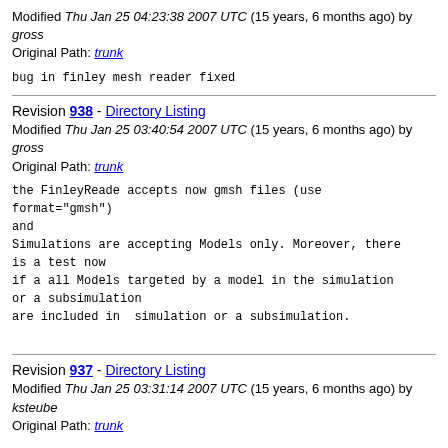Modified Thu Jan 25 04:23:38 2007 UTC (15 years, 6 months ago) by gross
Original Path: trunk
bug in finley mesh reader fixed
Revision 938 - Directory Listing
Modified Thu Jan 25 03:40:54 2007 UTC (15 years, 6 months ago) by gross
Original Path: trunk
the FinleyReade accepts now gmsh files (use format="gmsh")
and
Simulations are accepting Models only. Moreover, there is a test now
if a all Models targeted by a model in the simulation or a subsimulation
are included in  simulation or a subsimulation.
Revision 937 - Directory Listing
Modified Thu Jan 25 03:31:14 2007 UTC (15 years, 6 months ago) by ksteube
Original Path: trunk